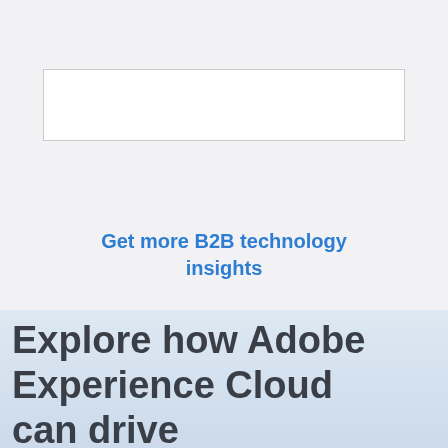[Figure (other): White rectangular box with light gray border on a light gray background]
Get more B2B technology insights
Explore how Adobe Experience Cloud can drive